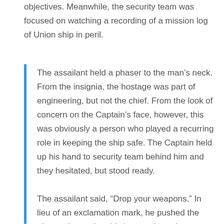objectives. Meanwhile, the security team was focused on watching a recording of a mission log of Union ship in peril.
The assailant held a phaser to the man's neck. From the insignia, the hostage was part of engineering, but not the chief. From the look of concern on the Captain's face, however, this was obviously a person who played a recurring role in keeping the ship safe. The Captain held up his hand to security team behind him and they hesitated, but stood ready.
The assailant said, “Drop your weapons.” In lieu of an exclamation mark, he pushed the phaser deeper into his hostage’s neck.